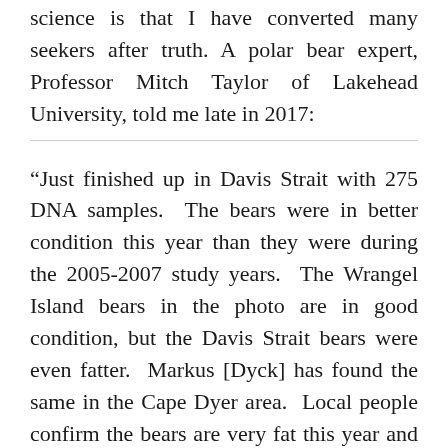science is that I have converted many seekers after truth. A polar bear expert, Professor Mitch Taylor of Lakehead University, told me late in 2017:
“Just finished up in Davis Strait with 275 DNA samples. The bears were in better condition this year than they were during the 2005-2007 study years. The Wrangel Island bears in the photo are in good condition, but the Davis Strait bears were even fatter. Markus [Dyck] has found the same in the Cape Dyer area. Local people confirm the bears are very fat this year and are also reporting a big increase in ringed seals (immigration, not local